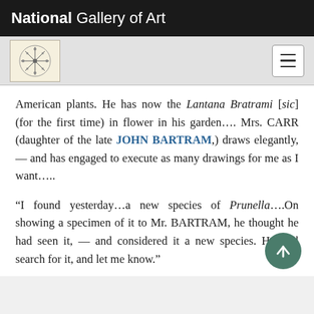National Gallery of Art
American plants. He has now the Lantana Bratrami [sic] (for the first time) in flower in his garden…. Mrs. CARR (daughter of the late JOHN BARTRAM,) draws elegantly,— and has engaged to execute as many drawings for me as I want…..
“I found yesterday…a new species of Prunella….On showing a specimen of it to Mr. BARTRAM, he thought he had seen it, — and considered it a new species. He will search for it, and let me know.”